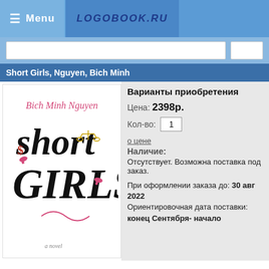≡ Menu | LOGOBOOK.RU
Short Girls, Nguyen, Bich Minh
[Figure (illustration): Book cover: Short Girls by Bich Minh Nguyen. Pink author name at top, decorative typographic title 'Short Girls' in black with fashion illustrations.]
Варианты приобретения
Цена: 2398р.
Кол-во: 1
о цене
Наличие:
Отсутствует. Возможна поставка под заказ.
При оформлении заказа до: 30 авг 2022 Ориентировочная дата поставки: конец Сентября- начало